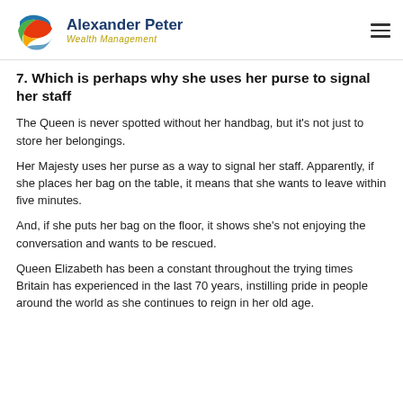Alexander Peter Wealth Management
7. Which is perhaps why she uses her purse to signal her staff
The Queen is never spotted without her handbag, but it's not just to store her belongings.
Her Majesty uses her purse as a way to signal her staff. Apparently, if she places her bag on the table, it means that she wants to leave within five minutes.
And, if she puts her bag on the floor, it shows she's not enjoying the conversation and wants to be rescued.
Queen Elizabeth has been a constant throughout the trying times Britain has experienced in the last 70 years, instilling pride in people around the world as she continues to reign in her old age.